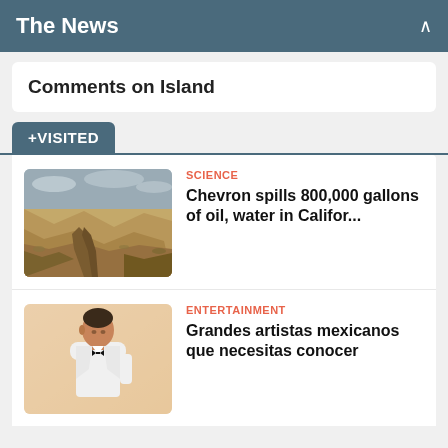The News
Comments on Island
+VISITED
SCIENCE
Chevron spills 800,000 gallons of oil, water in Califor...
[Figure (photo): Aerial view of a dry canyon landscape with eroded badlands terrain]
ENTERTAINMENT
Grandes artistas mexicanos que necesitas conocer
[Figure (photo): Man in white suit with bow tie against warm peach/sandy background]